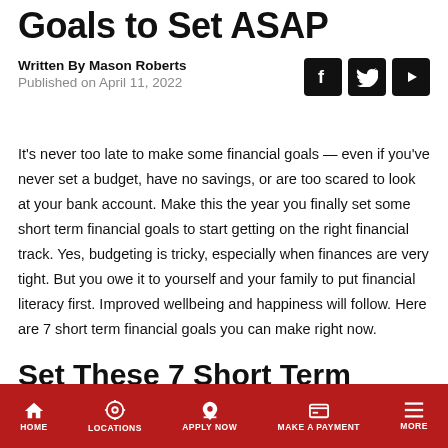Goals to Set ASAP
Written By Mason Roberts
Published on April 11, 2022
It's never too late to make some financial goals — even if you've never set a budget, have no savings, or are too scared to look at your bank account. Make this the year you finally set some short term financial goals to start getting on the right financial track. Yes, budgeting is tricky, especially when finances are very tight. But you owe it to yourself and your family to put financial literacy first. Improved wellbeing and happiness will follow. Here are 7 short term financial goals you can make right now.
Set These 7 Short Term Financial Goals To Improve Your Fina...
HOME | LOCATIONS | APPLY NOW | MAKE A PAYMENT | MORE